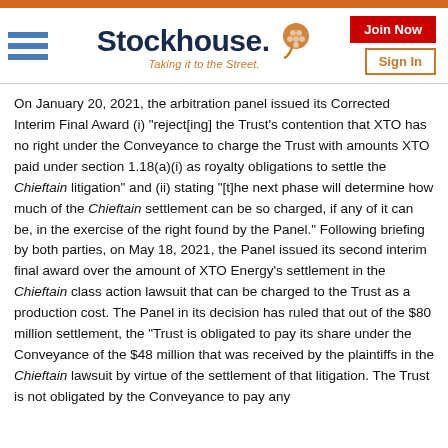[Figure (logo): Stockhouse logo with hamburger menu, brand name 'Stockhouse.' with head icon, tagline 'Taking it to the Street.', and nav buttons 'Join Now' and 'Sign In']
On January 20, 2021, the arbitration panel issued its Corrected Interim Final Award (i) "reject[ing] the Trust's contention that XTO has no right under the Conveyance to charge the Trust with amounts XTO paid under section 1.18(a)(i) as royalty obligations to settle the Chieftain litigation" and (ii) stating "[t]he next phase will determine how much of the Chieftain settlement can be so charged, if any of it can be, in the exercise of the right found by the Panel." Following briefing by both parties, on May 18, 2021, the Panel issued its second interim final award over the amount of XTO Energy's settlement in the Chieftain class action lawsuit that can be charged to the Trust as a production cost. The Panel in its decision has ruled that out of the $80 million settlement, the "Trust is obligated to pay its share under the Conveyance of the $48 million that was received by the plaintiffs in the Chieftain lawsuit by virtue of the settlement of that litigation. The Trust is not obligated by the Conveyance to pay any